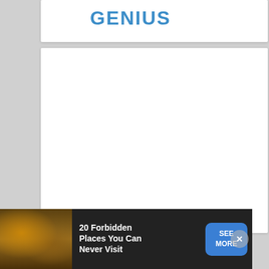GENIUS
[Figure (screenshot): Large white content area card, mostly blank white space]
[Figure (photo): Advertisement banner: '20 Forbidden Places You Can Never Visit' with SEE MORE button and close X button, dark background with image of what appears to be a location photo on the left]